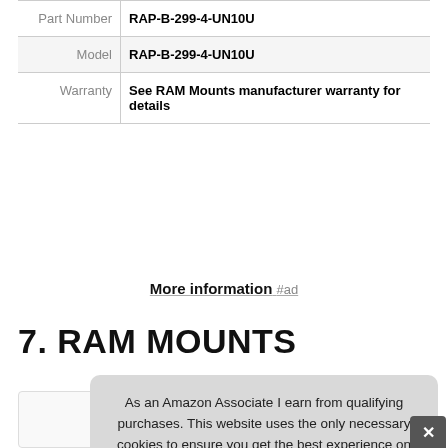|  |  |
| --- | --- |
| Part Number | RAP-B-299-4-UN10U |
| Model | RAP-B-299-4-UN10U |
| Warranty | See RAM Mounts manufacturer warranty for details |
More information #ad
7. RAM MOUNTS
#ad
As an Amazon Associate I earn from qualifying purchases. This website uses the only necessary cookies to ensure you get the best experience on our website. More information